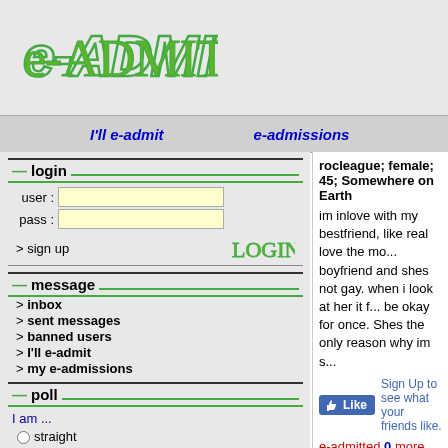[Figure (logo): e-ADMIT logo in green handwritten style font]
I'll e-admit   e-admissions
login
user :  pass :  > sign up  LOGIN
message
> inbox
> sent messages
> banned users
> I'll e-admit
> my e-admissions
poll
I am ...
straight
lesbian
gay
bisexual
asexual
undecided
naughty
rocleague;  female;  45;  Somewhere on Earth
im inlove with my bestfriend, like real love the mo... boyfriend and shes not gay. when i look at her it f... be okay for once. Shes the only reason why im s...
Like  Sign Up to see what your friends like.
e-admitted 0 more    send to a friend
astranger;  female;  31;  Netherlands;  ;
it's hard when you know you cant have the o... bestfriend is single, but she told me that she ... kissing a girl could make her vomit. she save... never know why- i love her
e-admitted 0 times    report to a...
add comment